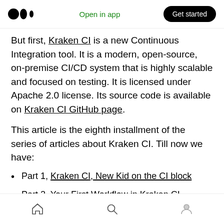Medium logo | Open in app | Get started
But first, Kraken CI is a new Continuous Integration tool. It is a modern, open-source, on-premise CI/CD system that is highly scalable and focused on testing. It is licensed under Apache 2.0 license. Its source code is available on Kraken CI GitHub page.
This article is the eighth installment of the series of articles about Kraken CI. Till now we have:
Part 1, Kraken CI, New Kid on the CI block
Part 2, Your First Workflow in Kraken CI
Home | Search | Profile